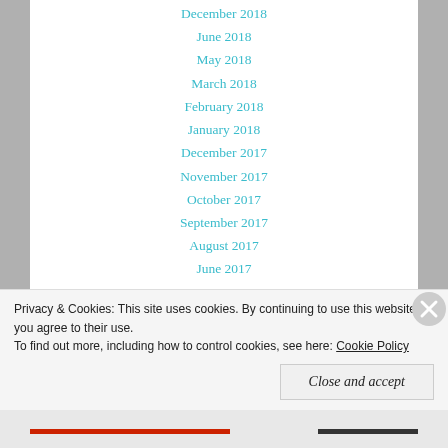December 2018
June 2018
May 2018
March 2018
February 2018
January 2018
December 2017
November 2017
October 2017
September 2017
August 2017
June 2017
May 2017
April 2017
March 2017
February 2017
January 2017
December 2016
Privacy & Cookies: This site uses cookies. By continuing to use this website, you agree to their use.
To find out more, including how to control cookies, see here: Cookie Policy
Close and accept